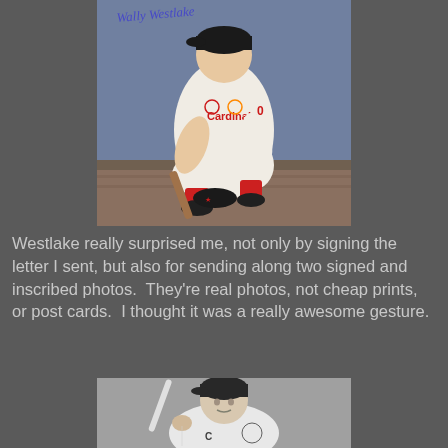[Figure (photo): Color autographed photo of a baseball player in a St. Louis Cardinals uniform, crouching in a dugout pose, holding a bat. The photo has a blue ink autograph signature across the top.]
Westlake really surprised me, not only by signing the letter I sent, but also for sending along two signed and inscribed photos.  They're real photos, not cheap prints, or post cards.  I thought it was a really awesome gesture.
[Figure (photo): Black and white photo of a baseball player in a Cleveland Indians uniform, holding a bat in a batting pose, looking to the side.]